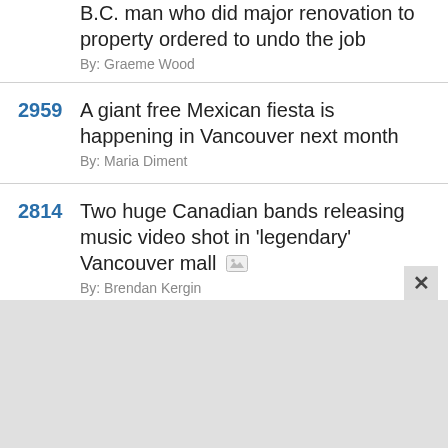B.C. man who did major renovation to property ordered to undo the job — By: Graeme Wood
2959 A giant free Mexican fiesta is happening in Vancouver next month — By: Maria Diment
2814 Two huge Canadian bands releasing music video shot in 'legendary' Vancouver mall — By: Brendan Kergin
1751 What the heck are 'bus bulbs' and are they accessible in Vancouver? — By: Allie Turner